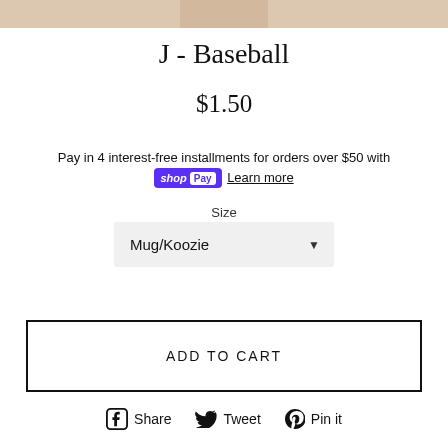[Figure (photo): Partial top of product photo, beige/tan colored background, cropped]
J - Baseball
$1.50
Pay in 4 interest-free installments for orders over $50 with shop Pay Learn more
Size
Mug/Koozie
ADD TO CART
Share Tweet Pin it